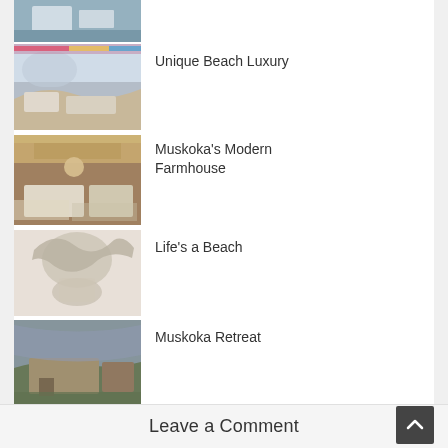[Figure (photo): Partial top listing thumbnail - interior room, blue/grey tones]
Unique Beach Luxury
[Figure (photo): Living room interior with arched window and white sofa, rainbow artwork]
Muskoka’s Modern Farmhouse
[Figure (photo): Luxury living room interior with warm wood ceiling and grey sofas]
Life’s a Beach
[Figure (photo): Floral arrangement in vase on table, light background]
Muskoka Retreat
[Figure (photo): Exterior of rustic house with dramatic cloudy sky and garden]
Leave a Comment